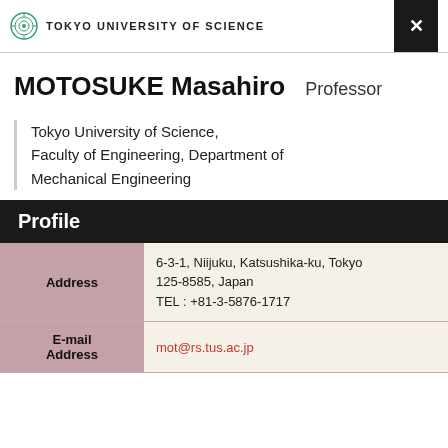TOKYO UNIVERSITY OF SCIENCE
MOTOSUKE Masahiro   Professor
Tokyo University of Science, Faculty of Engineering, Department of Mechanical Engineering
Profile
|  |  |
| --- | --- |
| Address | 6-3-1, Niijuku, Katsushika-ku, Tokyo 125-8585, Japan
TEL : +81-3-5876-1717 |
| E-mail Address | mot@rs.tus.ac.jp |